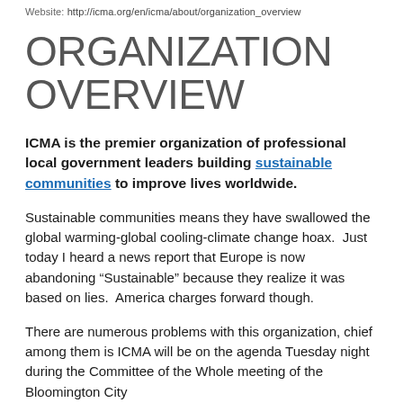Website: http://icma.org/en/icma/about/organization_overview
ORGANIZATION OVERVIEW
ICMA is the premier organization of professional local government leaders building sustainable communities to improve lives worldwide.
Sustainable communities means they have swallowed the global warming-global cooling-climate change hoax.  Just today I heard a news report that Europe is now abandoning “Sustainable” because they realize it was based on lies.  America charges forward though.
There are numerous problems with this organization, chief among them is ICMA will be on the agenda Tuesday night during the Committee of the Whole meeting of the Bloomington City